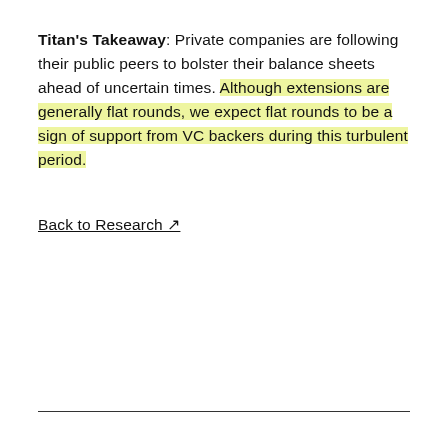Titan's Takeaway: Private companies are following their public peers to bolster their balance sheets ahead of uncertain times. Although extensions are generally flat rounds, we expect flat rounds to be a sign of support from VC backers during this turbulent period.
Back to Research ↗